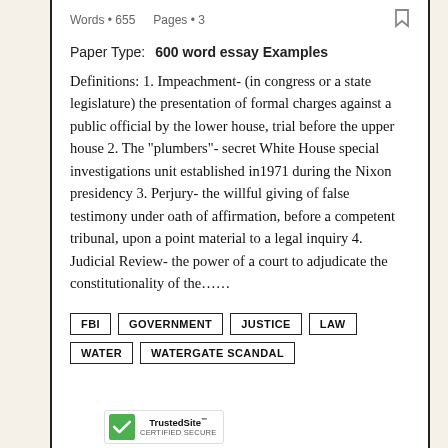Words • 655    Pages • 3
Paper Type:  600 word essay Examples
Definitions: 1. Impeachment- (in congress or a state legislature) the presentation of formal charges against a public official by the lower house, trial before the upper house 2. The “plumbers”- secret White House special investigations unit established in1971 during the Nixon presidency 3. Perjury- the willful giving of false testimony under oath of affirmation, before a competent tribunal, upon a point material to a legal inquiry 4. Judicial Review- the power of a court to adjudicate the constitutionality of the……
FBI
GOVERNMENT
JUSTICE
LAW
WATER
WATERGATE SCANDAL